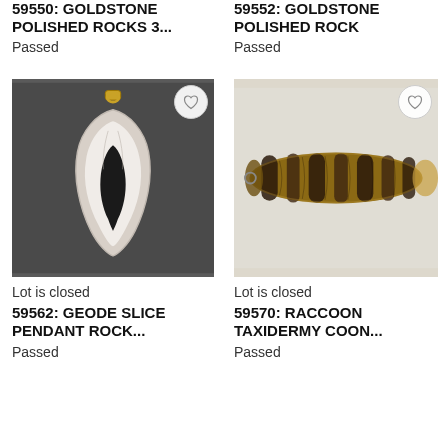59550: GOLDSTONE POLISHED ROCKS 3...
Passed
59552: GOLDSTONE POLISHED ROCK
Passed
[Figure (photo): Geode slice pendant rock on dark grey background, showing a translucent white/grey geode cross-section with dark center cavity and gold bail at top]
Lot is closed
59562: GEODE SLICE PENDANT ROCK...
Passed
[Figure (photo): Raccoon taxidermy coon tail with brown and black striped fur pattern on light background]
Lot is closed
59570: RACCOON TAXIDERMY COON...
Passed